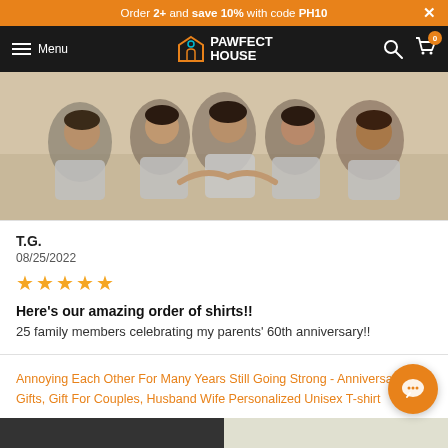Order 2+ and save 10% with code PH10
Menu | PAWFECT HOUSE
[Figure (photo): Group photo of approximately 6 people wearing matching grey t-shirts, sitting on the floor making heart shapes with their hands.]
T.G.
08/25/2022
★★★★★
Here's our amazing order of shirts!!
25 family members celebrating my parents' 60th anniversary!!
Annoying Each Other For Many Years Still Going Strong - Anniversary Gifts, Gift For Couples, Husband Wife Personalized Unisex T-shirt